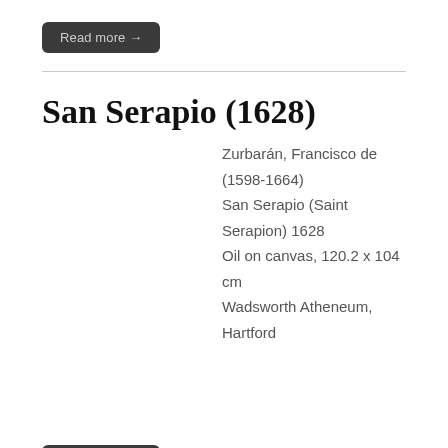Read more →
San Serapio (1628)
Zurbarán, Francisco de (1598-1664)
San Serapio (Saint Serapion) 1628
Oil on canvas, 120.2 x 104 cm
Wadsworth Atheneum, Hartford
Read more →
Martirio di sant'Andrea (1628)